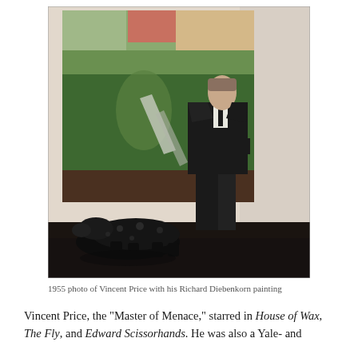[Figure (photo): Black and white photograph from 1955 showing Vincent Price standing in a dark suit beside a large Richard Diebenkorn abstract painting. A dark ceramic animal sculpture (frog or dog) is on the floor in front of him.]
1955 photo of Vincent Price with his Richard Diebenkorn painting
Vincent Price, the "Master of Menace," starred in House of Wax, The Fly, and Edward Scissorhands. He was also a Yale- and